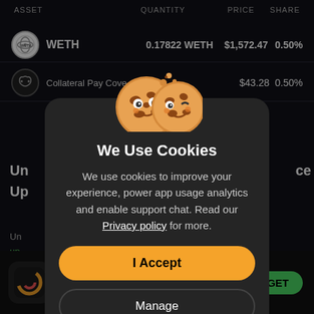| ASSET | QUANTITY | PRICE | SHARE |
| --- | --- | --- | --- |
| WETH | 0.17822 WETH | $1,572.47 | 0.50% |
| Collateral Pay Cove…LLC |  | $43.28 | 0.50% |
[Figure (screenshot): Cookie consent modal dialog overlaying a crypto portfolio app. Shows two cartoon cookie emojis, title 'We Use Cookies', body text about cookies for analytics and support chat with Privacy policy link, an orange 'I Accept' button, and a dark 'Manage' button.]
We Use Cookies
We use cookies to improve your experience, power app usage analytics and enable support chat. Read our Privacy policy for more.
I Accept
Manage